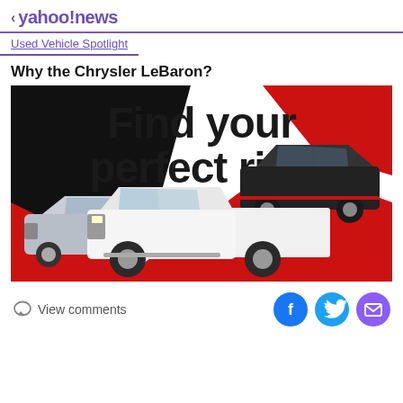< yahoo!news
Used Vehicle Spotlight
Why the Chrysler LeBaron?
[Figure (illustration): Advertisement banner showing three cars — a silver SUV on the left, a black SUV on the upper right, and a white Ford F-150 pickup truck in the center foreground — on a dramatic black and red diagonal background, with the text 'Find your perfect ride' in bold black letters at the top of the banner.]
View comments
[Figure (other): Social sharing icons: Facebook (blue circle with f), Twitter (blue circle with bird), and email (purple circle with envelope)]